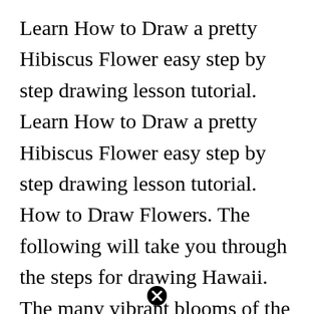Learn How to Draw a pretty Hibiscus Flower easy step by step drawing lesson tutorial. Learn How to Draw a pretty Hibiscus Flower easy step by step drawing lesson tutorial. How to Draw Flowers. The following will take you through the steps for drawing Hawaii. The many vibrant blooms of the Hawaiian Islands are a vast inspiration to artists worldwide. How To Draw A Hibiscus Flower Step By Step Drawing Tutorials Flower Drawing Tutorials Hibiscus Flower Drawing Flower Drawing...